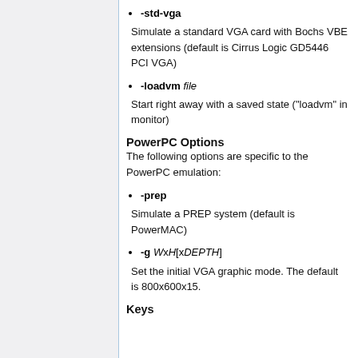-std-vga
Simulate a standard VGA card with Bochs VBE extensions (default is Cirrus Logic GD5446 PCI VGA)
-loadvm file
Start right away with a saved state ("loadvm" in monitor)
PowerPC Options
The following options are specific to the PowerPC emulation:
-prep
Simulate a PREP system (default is PowerMAC)
-g WxH[xDEPTH]
Set the initial VGA graphic mode. The default is 800x600x15.
Keys